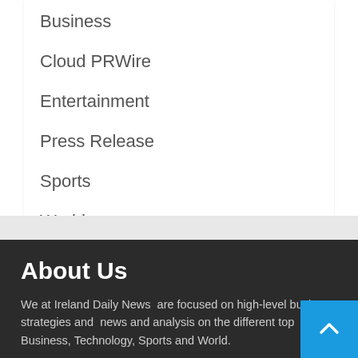Business
Cloud PRWire
Entertainment
Press Release
Sports
World
About Us
We at Ireland Daily News  are focused on high-level business strategies and  news and analysis on the different topics: Business, Technology, Sports and World.